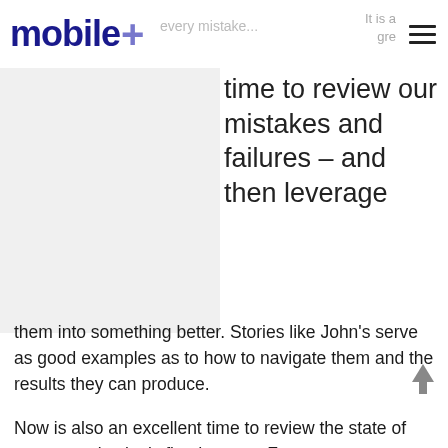mobile+
time to review our mistakes and failures – and then leverage them into something better.  Stories like John's serve as good examples as to how to navigate them and the results they can produce.
Now is also an excellent time to review the state of your organization's fixed assets.  For over twenty years, we've been helping organizations hone their